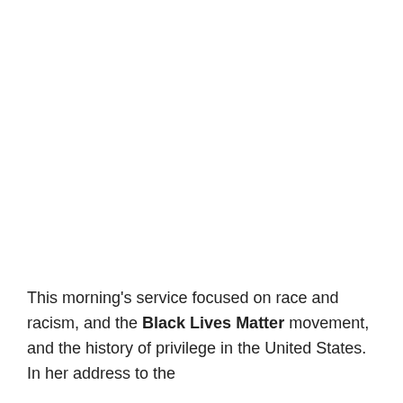This morning's service focused on race and racism, and the Black Lives Matter movement, and the history of privilege in the United States. In her address to the